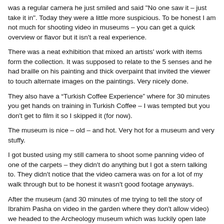was a regular camera he just smiled and said "No one saw it – just take it in". Today they were a little more suspicious. To be honest I am not much for shooting video in museums – you can get a quick overview or flavor but it isn't a real experience.
There was a neat exhibition that mixed an artists' work with items form the collection. It was supposed to relate to the 5 senses and he had braille on his painting and thick overpaint that invited the viewer to touch alternate images on the paintings. Very nicely done.
They also have a “Turkish Coffee Experience” where for 30 minutes you get hands on training in Turkish Coffee – I was tempted but you don't get to film it so I skipped it (for now).
The museum is nice – old – and hot. Very hot for a museum and very stuffy.
I got busted using my still camera to shoot some panning video of one of the carpets – they didn't do anything but I got a stern talking to. They didn't notice that the video camera was on for a lot of my walk through but to be honest it wasn't good footage anyways.
After the museum (and 30 minutes of me trying to tell the story of Ibrahim Pasha on video in the garden where they don't allow video) we headed to the Archeology museum which was luckily open late (till 7pm). There is a great sign on their ticket booth that says “This is NOT Topkapi Palace” I can only imagine how many mistakes they must have had to have to put that sign up.
The museum was under construction but even so it goes on and on